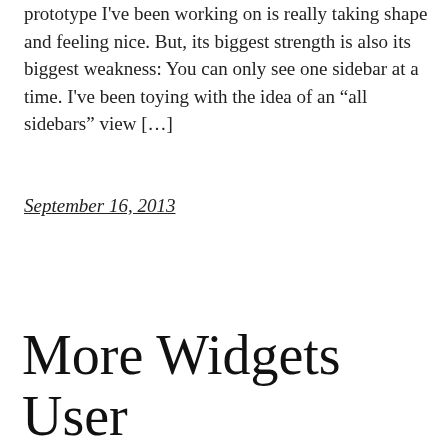prototype I've been working on is really taking shape and feeling nice. But, its biggest strength is also its biggest weakness: You can only see one sidebar at a time. I've been toying with the idea of an “all sidebars” view […]
September 16, 2013
More Widgets User